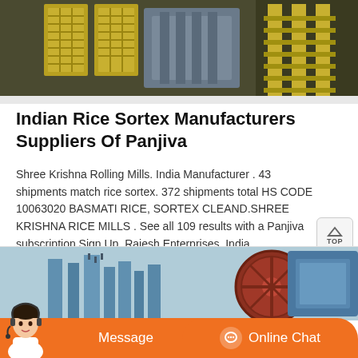[Figure (photo): Industrial machinery photo showing yellow/green equipment with metal grating and pipes]
Indian Rice Sortex Manufacturers Suppliers Of Panjiva
Shree Krishna Rolling Mills. India Manufacturer . 43 shipments match rice sortex. 372 shipments total HS CODE 10063020 BASMATI RICE, SORTEX CLEAND.SHREE KRISHNA RICE MILLS . See all 109 results with a Panjiva subscription Sign Up. Rajesh Enterprises. India .
[Figure (photo): Industrial machinery with blue metallic structures and a large red/brown circular wheel component]
[Figure (other): Chat bar with agent avatar, Message button, and Online Chat button in orange]